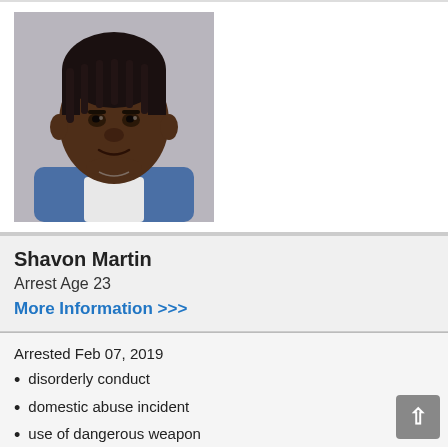[Figure (photo): Mugshot of Shavon Martin, a person wearing a blue shirt with a white undershirt, against a gray background.]
Shavon Martin
Arrest Age 23
More Information >>>
Arrested Feb 07, 2019
disorderly conduct
domestic abuse incident
use of dangerous weapon